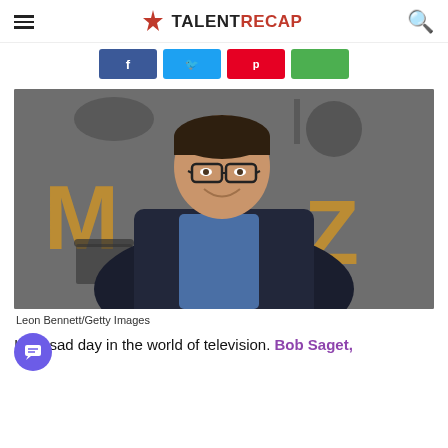TALENTRECAP
[Figure (photo): Social media share buttons: Facebook, Twitter, Pinterest, and a green share button]
[Figure (photo): Photo of Bob Saget smiling, wearing glasses and a dark blazer over a blue shirt, standing in front of a decorative backdrop with gold lettering. Credit: Leon Bennett/Getty Images]
Leon Bennett/Getty Images
It's a sad day in the world of television. Bob Saget,